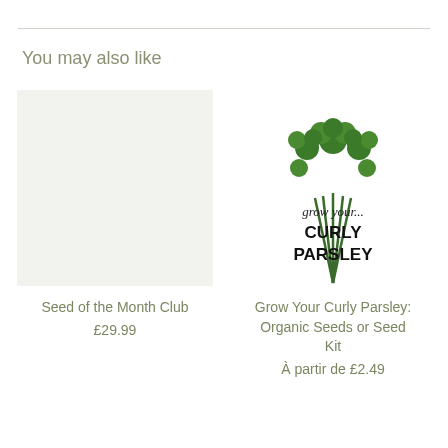You may also like
[Figure (illustration): Empty light grey placeholder box for Seed of the Month Club product image]
Seed of the Month Club
£29.99
[Figure (illustration): Illustration of curly parsley plant with stems and leaves, with cursive text 'grow your...' and bold text 'CURLY PARSLEY']
Grow Your Curly Parsley: Organic Seeds or Seed Kit
À partir de £2.49